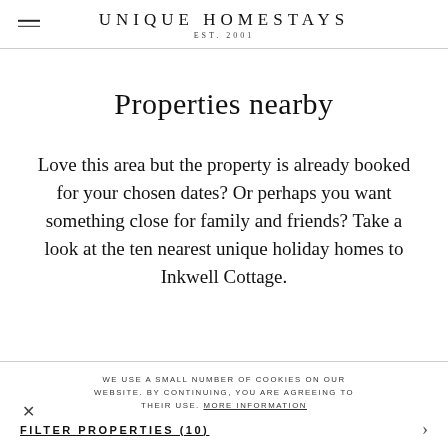UNIQUE HOMESTAYS EST. 2001
Properties nearby
Love this area but the property is already booked for your chosen dates? Or perhaps you want something close for family and friends? Take a look at the ten nearest unique holiday homes to Inkwell Cottage.
WE USE A SMALL NUMBER OF COOKIES ON OUR WEBSITE. BY CONTINUING, YOU ARE AGREEING TO THEIR USE. MORE INFORMATION
FILTER PROPERTIES (10)